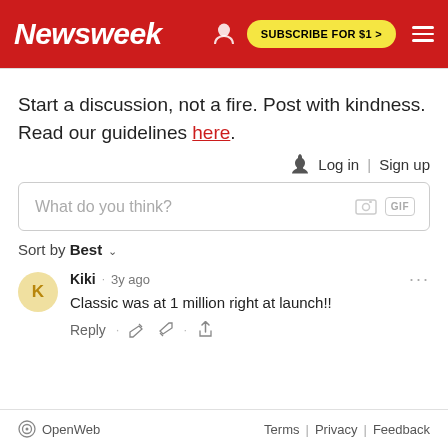Newsweek  SUBSCRIBE FOR $1 >
Start a discussion, not a fire. Post with kindness. Read our guidelines here.
Log in | Sign up
What do you think?
Sort by Best
Kiki · 3y ago
Classic was at 1 million right at launch!!
Reply
OpenWeb  Terms | Privacy | Feedback